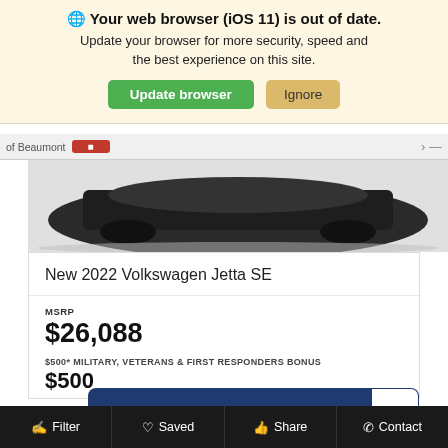🌐 Your web browser (iOS 11) is out of date. Update your browser for more security, speed and the best experience on this site.
Update browser | Ignore
of Beaumont
[Figure (photo): Bottom rear portion of a dark sedan vehicle against grey background]
New 2022 Volkswagen Jetta SE
MSRP
$26,088
$500* MILITARY, VETERANS & FIRST RESPONDERS BONUS
$500
VIEW MORE DETAILS
Filter | Saved | Share | Contact